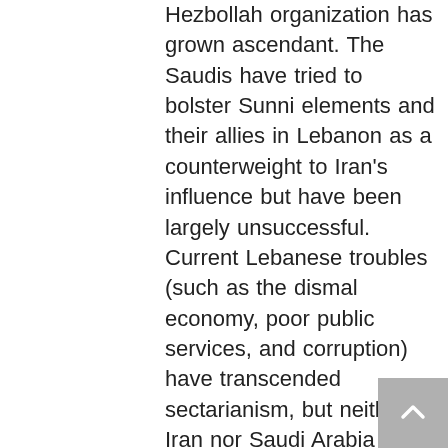Hezbollah organization has grown ascendant. The Saudis have tried to bolster Sunni elements and their allies in Lebanon as a counterweight to Iran's influence but have been largely unsuccessful. Current Lebanese troubles (such as the dismal economy, poor public services, and corruption) have transcended sectarianism, but neither Iran nor Saudi Arabia has given up on supporting their particular sides–though the former has reportedly scaled back its financial support to Hezbollah because of its own financial difficulties, and the latter has at times bungled its relations with Sunni politicians, as witnessed by its bizarre detention of then-Prime Minister